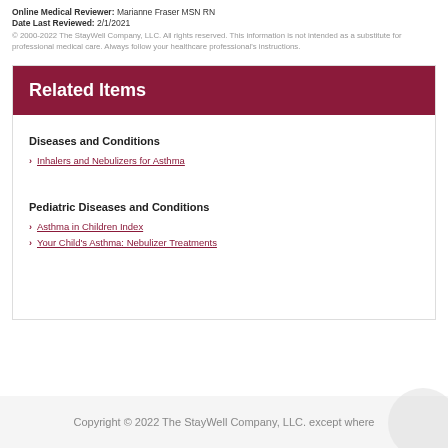Online Medical Reviewer: Marianne Fraser MSN RN
Date Last Reviewed: 2/1/2021
© 2000-2022 The StayWell Company, LLC. All rights reserved. This information is not intended as a substitute for professional medical care. Always follow your healthcare professional's instructions.
Related Items
Diseases and Conditions
Inhalers and Nebulizers for Asthma
Pediatric Diseases and Conditions
Asthma in Children Index
Your Child's Asthma: Nebulizer Treatments
Copyright © 2022 The StayWell Company, LLC. except where